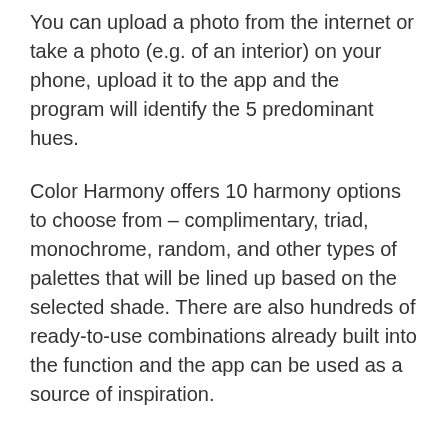You can upload a photo from the internet or take a photo (e.g. of an interior) on your phone, upload it to the app and the program will identify the 5 predominant hues.
Color Harmony offers 10 harmony options to choose from – complimentary, triad, monochrome, random, and other types of palettes that will be lined up based on the selected shade. There are also hundreds of ready-to-use combinations already built into the function and the app can be used as a source of inspiration.